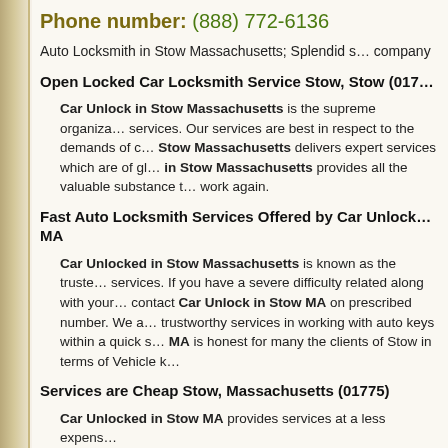Phone number: (888) 772-6136
Auto Locksmith in Stow Massachusetts; Splendid s... company
Open Locked Car Locksmith Service Stow, Stow (017...
Car Unlock in Stow Massachusetts is the supreme organiza... services. Our services are best in respect to the demands of c... Stow Massachusetts delivers expert services which are of gl... in Stow Massachusetts provides all the valuable substance t... work again.
Fast Auto Locksmith Services Offered by Car Unlock... MA
Car Unlocked in Stow Massachusetts is known as the truste... services. If you have a severe difficulty related along with your... contact Car Unlock in Stow MA on prescribed number. We a... trustworthy services in working with auto keys within a quick s... MA is honest for many the clients of Stow in terms of Vehicle k...
Services are Cheap Stow, Massachusetts (01775)
Car Unlocked in Stow MA provides services at a less expens...